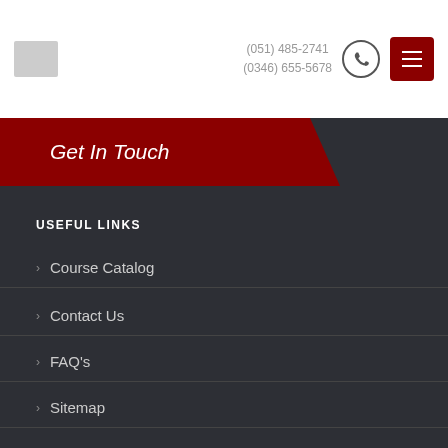(051) 485-2741 (0346) 655-5678
Get In Touch
USEFUL LINKS
Course Catalog
Contact Us
FAQ's
Sitemap
USEFUL LINKS
Diploma Programs
Certificate Programs